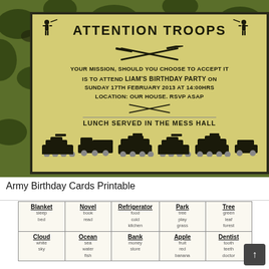[Figure (illustration): Army/military themed birthday party invitation on a camouflage background. The card reads: ATTENTION TROOPS - YOUR MISSION, SHOULD YOU CHOOSE TO ACCEPT IT IS TO ATTEND LIAM'S BIRTHDAY PARTY ON SUNDAY 17TH FEBRUARY 2013 AT 14:00HRS LOCATION: OUR HOUSE. RSVP ASAP - LUNCH SERVED IN THE MESS HALL. Bottom of card has silhouettes of military vehicles.]
Army Birthday Cards Printable
| Blanket | Novel | Refrigerator | Park | Tree |
| --- | --- | --- | --- | --- |
| sleep
bed | book
read | food
cold
kitchen | tree
play
grass | green
leaf
forest |
| Cloud
white
sky | Ocean
sea
water
fish | Bank
money
store | Apple
fruit
red
banana | Dentist
tooth
teeth
doctor |